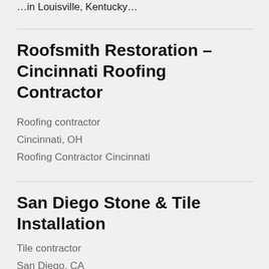Roofsmith Restoration – Cincinnati Roofing Contractor
Roofing contractor
Cincinnati, OH
Roofing Contractor Cincinnati
San Diego Stone & Tile Installation
Tile contractor
San Diego, CA
Delivering Professional Tile Installation in San Diego